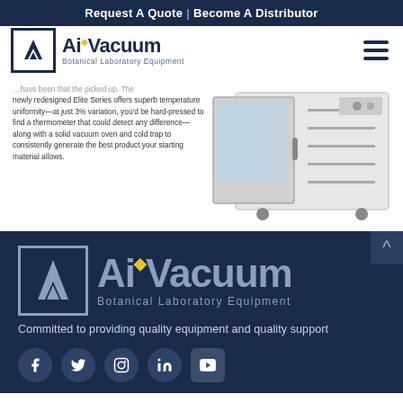Request A Quote | Become A Distributor
[Figure (logo): AiVacuum Botanical Laboratory Equipment logo - top header]
newly redesigned Elite Series offers superb temperature uniformity—at just 3% variation, you'd be hard-pressed to find a thermometer that could detect any difference—along with a solid vacuum oven and cold trap to consistently generate the best product your starting material allows.
[Figure (photo): Large white laboratory vacuum oven with open door showing shelving racks inside, on casters]
[Figure (logo): AiVacuum Botanical Laboratory Equipment logo - footer, large white on dark blue]
Committed to providing quality equipment and quality support
[Figure (infographic): Social media icons: Facebook, Twitter, Instagram, LinkedIn, YouTube]